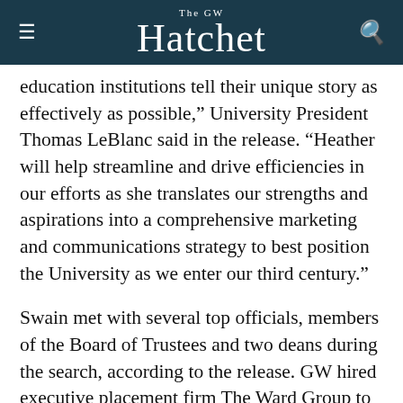The GW Hatchet
education institutions tell their unique story as effectively as possible,” University President Thomas LeBlanc said in the release. “Heather will help streamline and drive efficiencies in our efforts as she translates our strengths and aspirations into a comprehensive marketing and communications strategy to best position the University as we enter our third century.”
Swain met with several top officials, members of the Board of Trustees and two deans during the search, according to the release. GW hired executive placement firm The Ward Group to assist with the search, the release states.